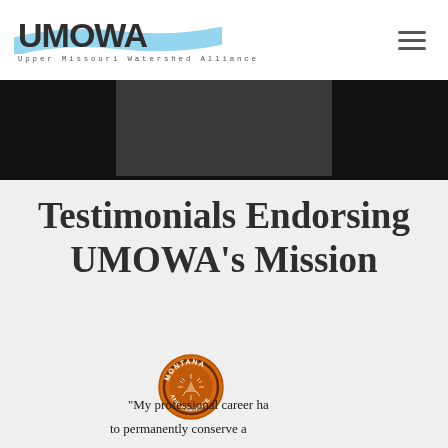UMOWA — Upper Missouri Watershed Alliance
[Figure (logo): UMOWA logo with blue brush stroke behind text and subtitle 'Upper Missouri Watershed Alliance']
[Figure (photo): Dark banner with a lighter rectangular region in the center]
Testimonials Endorsing UMOWA's Mission
[Figure (logo): Montana Land Reliance circular orange badge logo]
“My professional career ha to permanently conserve a